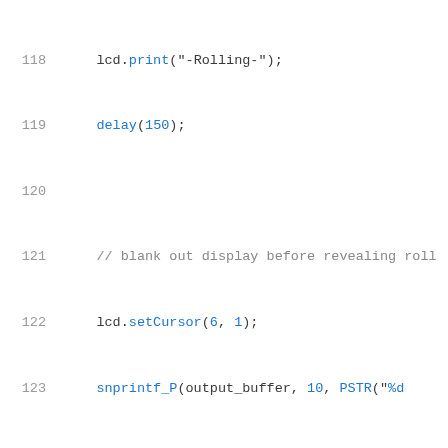[Figure (screenshot): Source code screenshot showing Arduino C++ code lines 118-138, with syntax highlighting. Line numbers in gray on left, blue keywords/functions, gray comments, black code.]